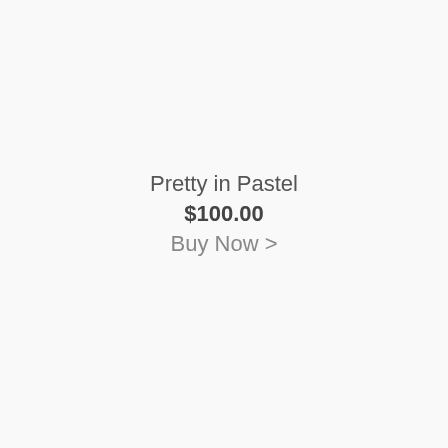Pretty in Pastel
$100.00
Buy Now >